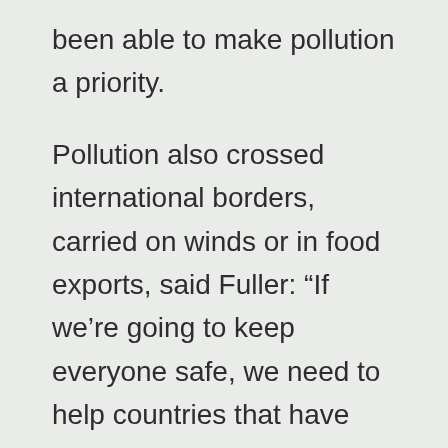been able to make pollution a priority.
Pollution also crossed international borders, carried on winds or in food exports, said Fuller: “If we’re going to keep everyone safe, we need to help countries that have these toxic problems to stop the pollution at the source.”